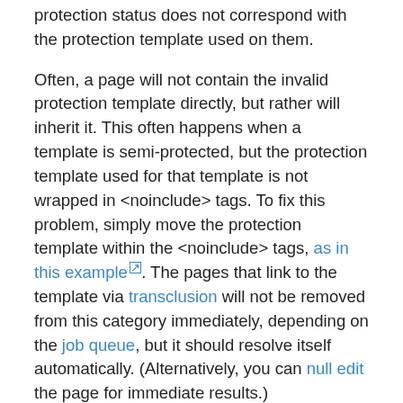protection status does not correspond with the protection template used on them.
Often, a page will not contain the invalid protection template directly, but rather will inherit it. This often happens when a template is semi-protected, but the protection template used for that template is not wrapped in <noinclude> tags. To fix this problem, simply move the protection template within the <noinclude> tags, as in this example. The pages that link to the template via transclusion will not be removed from this category immediately, depending on the job queue, but it should resolve itself automatically. (Alternatively, you can null edit the page for immediate results.)
UPDATE this page
Another common cause for pages to be in this category is